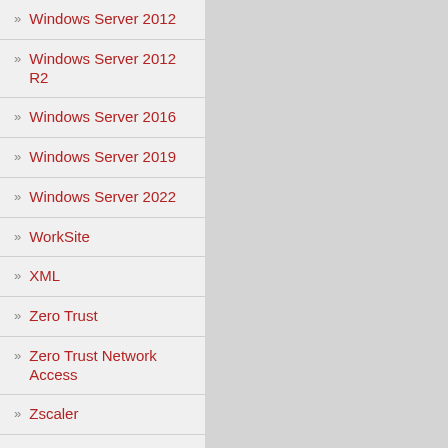Windows Server 2012
Windows Server 2012 R2
Windows Server 2016
Windows Server 2019
Windows Server 2022
WorkSite
XML
Zero Trust
Zero Trust Network Access
Zscaler
ZTNA